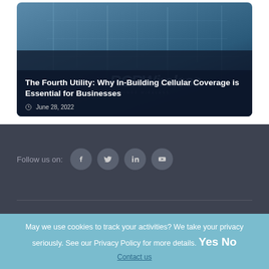[Figure (photo): Article card with dark overlay showing city buildings with glass facades, featuring RCR Wireless logo. Contains article title and date.]
The Fourth Utility: Why In-Building Cellular Coverage is Essential for Businesses
June 28, 2022
Follow us on:
[Figure (illustration): Social media icons: Facebook, Twitter, LinkedIn, YouTube — circular grey buttons]
May we use cookies to track your activities? We take your privacy seriously. See our Privacy Policy for more details. Yes No
Contact us